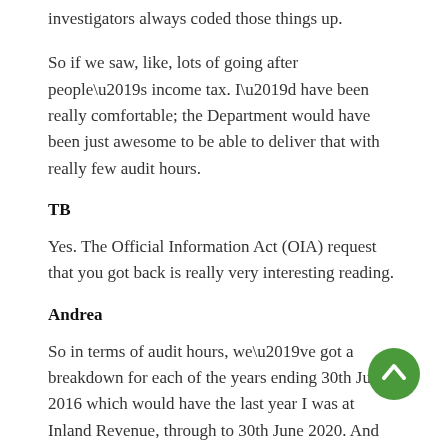investigators always coded those things up.
So if we saw, like, lots of going after people’s income tax. I’d have been really comfortable; the Department would have been just awesome to be able to deliver that with really few audit hours.
TB
Yes. The Official Information Act (OIA) request that you got back is really very interesting reading.
Andrea
So in terms of audit hours, we’ve got a breakdown for each of the years ending 30th June 2016 which would have the last year I was at Inland Revenue, through to 30th June 2020. And this is a version of what came from the